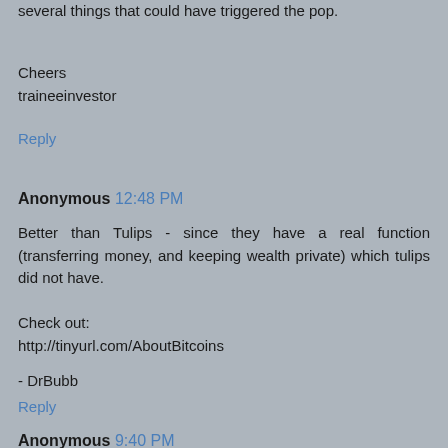several things that could have triggered the pop.
Cheers
traineeinvestor
Reply
Anonymous 12:48 PM
Better than Tulips - since they have a real function (transferring money, and keeping wealth private) which tulips did not have.
Check out:
http://tinyurl.com/AboutBitcoins
- DrBubb
Reply
Anonymous 9:40 PM